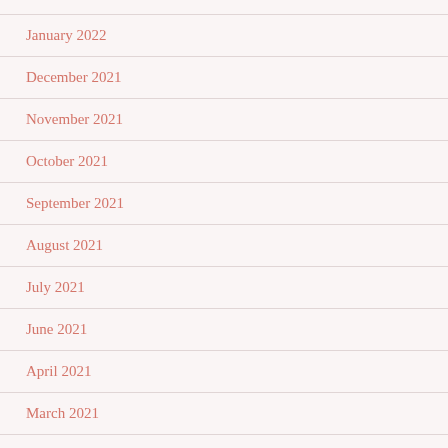January 2022
December 2021
November 2021
October 2021
September 2021
August 2021
July 2021
June 2021
April 2021
March 2021
February 2021